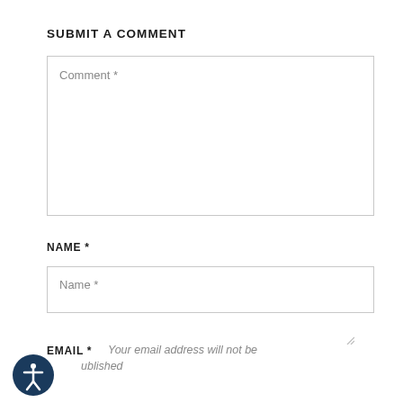SUBMIT A COMMENT
Comment *
NAME *
Name *
EMAIL *  Your email address will not be published